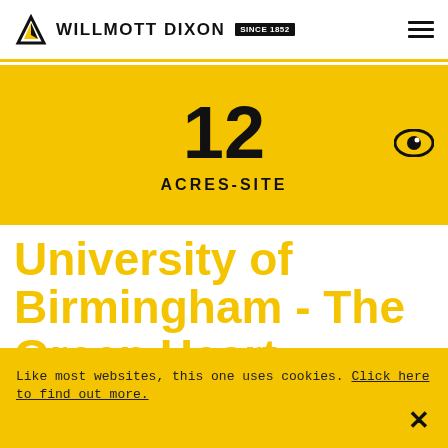WILLMOTT DIXON SINCE 1852
12 ACRES-SITE
University of Birmingham - The Green Heart
Like most websites, this one uses cookies. Click here to find out more.